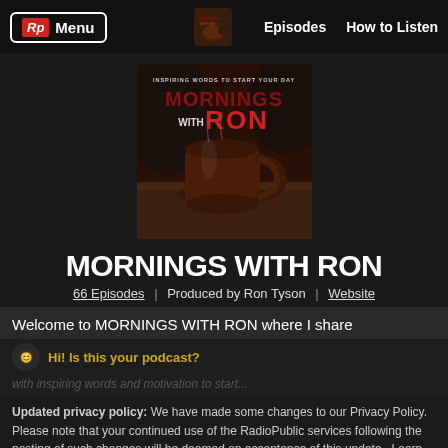Rp Menu | Episodes | How to Listen
[Figure (screenshot): Podcast cover art for Mornings With Ron: dark background with a coffee mug, text 'INSPIRING WORDS TO START YOUR DAY' and 'MORNINGS WITH RON' in large red letters]
MORNINGS WITH RON
66 Episodes | Produced by Ron Tyson | Website
Welcome to MORNINGS WITH RON where I share
Hi! Is this your podcast?
Updated privacy policy: We have made some changes to our Privacy Policy. Please note that your continued use of the RadioPublic services following the posting of such changes will be deemed an acceptance of this update. Learn more.